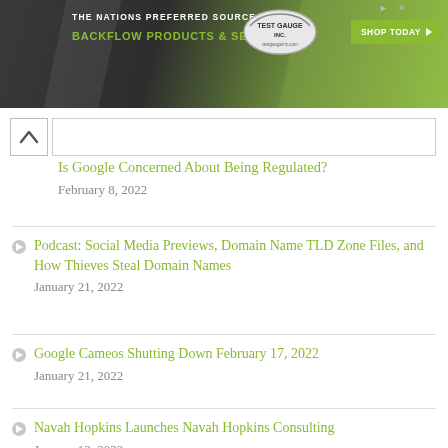[Figure (other): Advertisement banner for Test Gauge Inc. with green and dark background, showing 'THE NATIONS PREFERRED SOURCE FOR BACKFLOW PRODUCTS & SERVICES' with a shop button]
Is Google Concerned About Being Regulated? February 8, 2022
Podcast: Social Media Previews, Domain Name TLD Zone Files, and How Thieves Steal Domain Names January 21, 2022
Google Cameos Shutting Down February 17, 2022 January 21, 2022
Navah Hopkins Launches Navah Hopkins Consulting January 13, 2022
Class Action Lawsuit: Google is Paying Apple to Stay Out of Search Business January 5, 2022